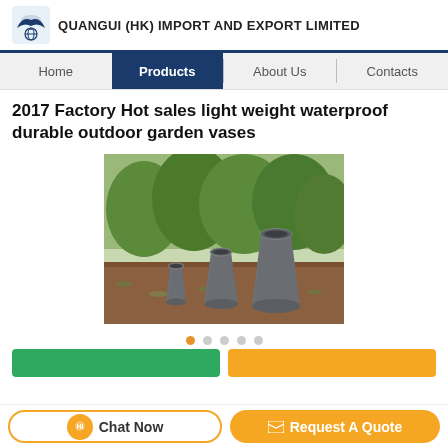QUANGUI (HK) IMPORT AND EXPORT LIMITED
Home | Products | About Us | Contacts
2017 Factory Hot sales light weight waterproof durable outdoor garden vases
[Figure (photo): Three dark grey/charcoal conical garden vases of different sizes arranged in front of green leafy bushes outdoors. The vases are tapered cylinders, wider at the top, in small, medium, and large sizes.]
Chat Now | Request A Quote